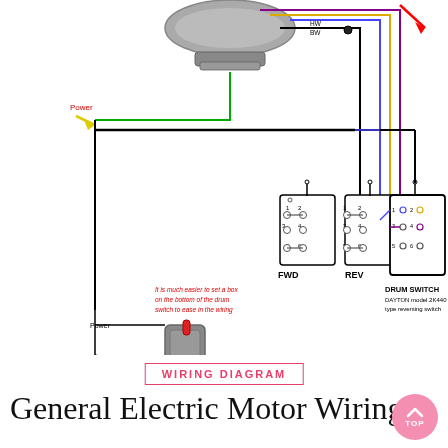[Figure (schematic): Wiring diagram showing an electric motor connected to a drum switch (DAYTON model 2K440 drum type reversing switch) with FWD and REV positions labeled. Colored wires (black, green, yellow, blue, purple) connect components. Lower portion shows a physical drum switch photo with Power and To Motor labels. Red annotation text reads: 'It is much easier to set a box on the bottom of the drum switch to ease in the wiring'.]
WIRING DIAGRAM
General Electric Motor Wiring